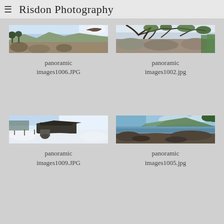≡  Risdon Photography
[Figure (photo): Panoramic landscape photo showing rocky terrain with trees and mountain/valley view under bright sky]
panoramic images1006.JPG
[Figure (photo): Panoramic photo showing twisted tree branches with green foliage over rocky ground]
panoramic images1002.jpg
[Figure (photo): Panoramic winter scene with snow-covered ground and dark building structures]
panoramic images1009.JPG
[Figure (photo): Panoramic coastal photo showing rocky shoreline with water and green hillside]
panoramic images1005.jpg